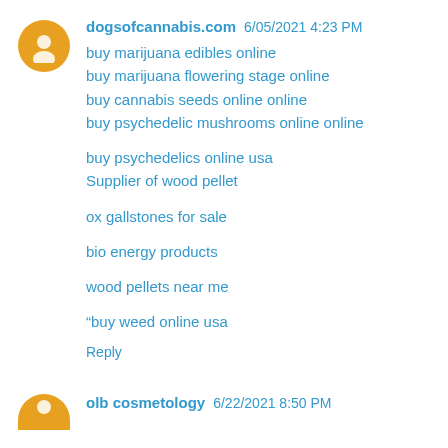dogsofcannabis.com  6/05/2021 4:23 PM
buy marijuana edibles online
buy marijuana flowering stage online
buy cannabis seeds online online
buy psychedelic mushrooms online online

buy psychedelics online usa
Supplier of wood pellet

ox gallstones for sale

bio energy products

wood pellets near me

“buy weed online usa
Reply
olb cosmetology  6/22/2021 8:50 PM